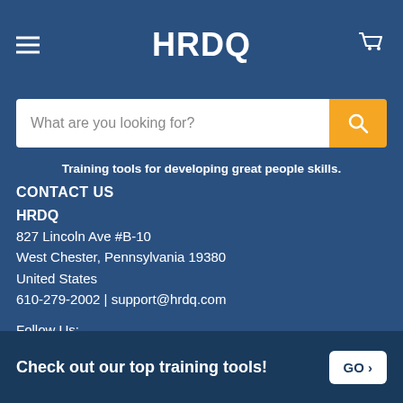[Figure (logo): HRDQ logo in white text on dark blue header with hamburger menu icon on left and shopping cart icon on right]
What are you looking for?
Training tools for developing great people skills.
CONTACT US
HRDQ
827 Lincoln Ave #B-10
West Chester, Pennsylvania 19380
United States
610-279-2002 | support@hrdq.com
Follow Us:
Check out our top training tools!